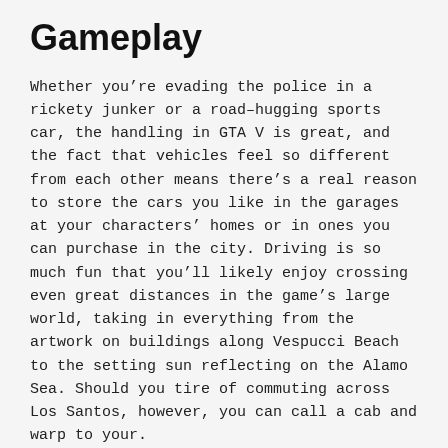Gameplay
Whether you’re evading the police in a rickety junker or a road–hugging sports car, the handling in GTA V is great, and the fact that vehicles feel so different from each other means there’s a real reason to store the cars you like in the garages at your characters’ homes or in ones you can purchase in the city. Driving is so much fun that you’ll likely enjoy crossing even great distances in the game’s large world, taking in everything from the artwork on buildings along Vespucci Beach to the setting sun reflecting on the Alamo Sea. Should you tire of commuting across Los Santos, however, you can call a cab and warp to your.
When shooting breaks out, as it often does in the lives of these criminals, you have a terrific variety of weapons at your disposal that you can customize with suppressors, scopes, flashlights and other doodads. By default, your aim snaps to enemies. This makes picking them off quite